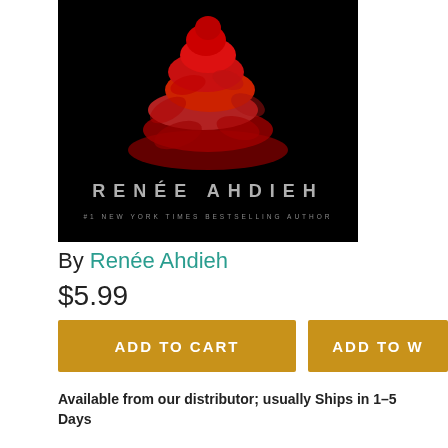[Figure (illustration): Book cover with dark black background, a pile of red rose petals in the center forming a triangular shape. Author name 'RENÉE AHDIEH' in large spaced silver letters near the bottom, with '#1 NEW YORK TIMES BESTSELLING AUTHOR' in smaller spaced text below.]
By Renée Ahdieh
$5.99
ADD TO CART
ADD TO W
Available from our distributor; usually Ships in 1–5 Days